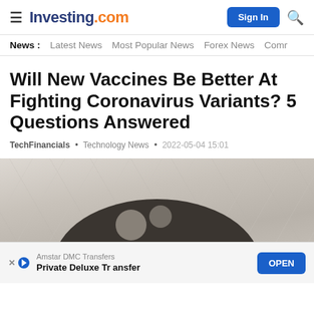≡ Investing.com  Sign In 🔍
News :  Latest News  Most Popular News  Forex News  Comr
Will New Vaccines Be Better At Fighting Coronavirus Variants? 5 Questions Answered
TechFinancials . Technology News . 2022-05-04 15:01
[Figure (photo): Pfizer logo sign on marble background, dark metallic circular logo with Pfizer text]
Amstar DMC Transfers  Private Deluxe Transfer  OPEN